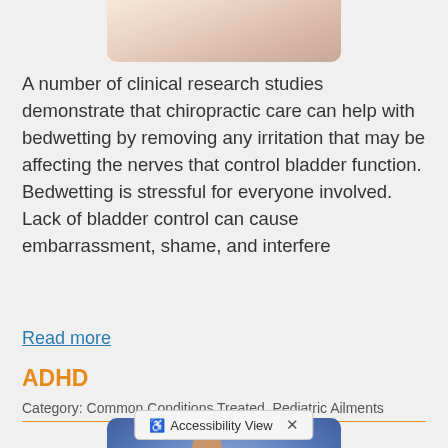[Figure (photo): Partial photo at top of page, appears to show a person (child/hand), cropped at top]
A number of clinical research studies demonstrate that chiropractic care can help with bedwetting by removing any irritation that may be affecting the nerves that control bladder function. Bedwetting is stressful for everyone involved. Lack of bladder control can cause embarrassment, shame, and interfere
Read more
ADHD
Category: Common Conditions Treated, Pediatric Ailments
[Figure (photo): Photo of an adult man and two children (a boy and a girl) sitting together at a table, smiling, with papers/schoolwork in front of them]
Although chiropractors don't directly treat ADHD, there are a number of things that you                                                        help